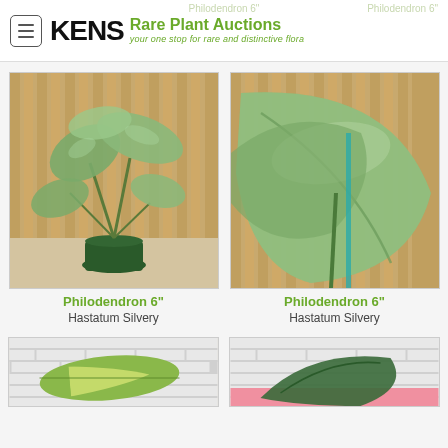KENS Rare Plant Auctions — your one stop for rare and distinctive flora
[Figure (photo): Photo of Philodendron 6 inch Hastatum Silvery plant in green pot against bamboo fence backdrop]
Philodendron 6"
Hastatum Silvery
[Figure (photo): Close-up photo of Philodendron 6 inch Hastatum Silvery large silver-green leaf against bamboo fence backdrop]
Philodendron 6"
Hastatum Silvery
[Figure (photo): Partial photo of plant with green and yellow variegated leaf against white brick wall]
[Figure (photo): Partial photo of plant against white brick wall with pink background]